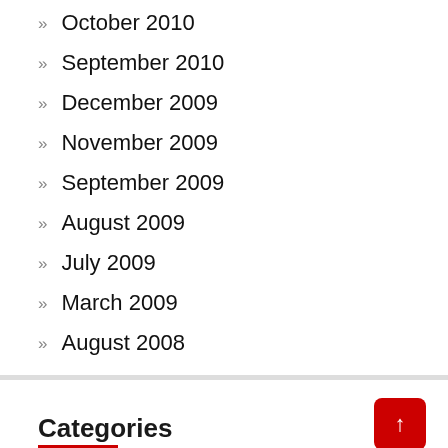October 2010
September 2010
December 2009
November 2009
September 2009
August 2009
July 2009
March 2009
August 2008
Categories